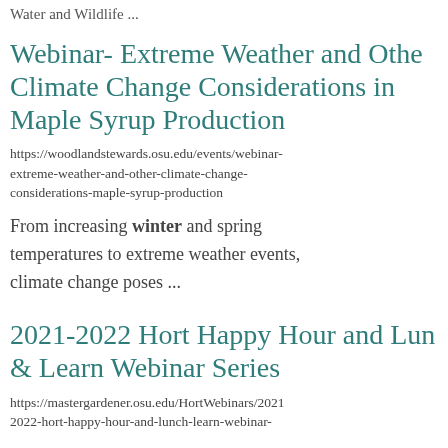Water and Wildlife ...
Webinar- Extreme Weather and Other Climate Change Considerations in Maple Syrup Production
https://woodlandstewards.osu.edu/events/webinar-extreme-weather-and-other-climate-change-considerations-maple-syrup-production
From increasing winter and spring temperatures to extreme weather events, climate change poses ...
2021-2022 Hort Happy Hour and Lunch & Learn Webinar Series
https://mastergardener.osu.edu/HortWebinars/2021-2022-hort-happy-hour-and-lunch-learn-webinar-